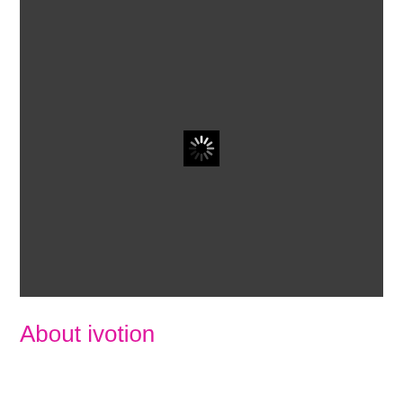[Figure (screenshot): Dark gray rectangular panel with a loading spinner icon (black square with white radiating lines) centered within it]
About ivotion